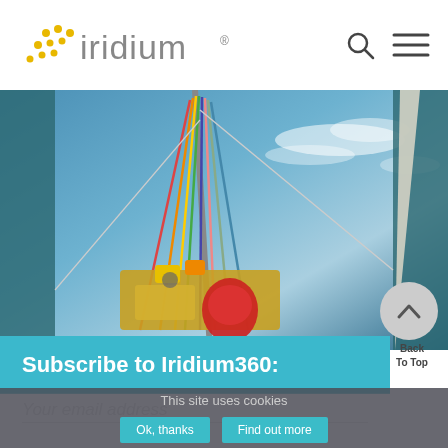[Figure (logo): Iridium logo with yellow dot pattern and grey text]
[Figure (photo): Aerial view looking up a sailboat mast with colorful ropes and rigging against a blue ocean and cloudy sky]
Subscribe to Iridium360:
Back To Top
This site uses cookies
Your email address
Ok, thanks
Find out more